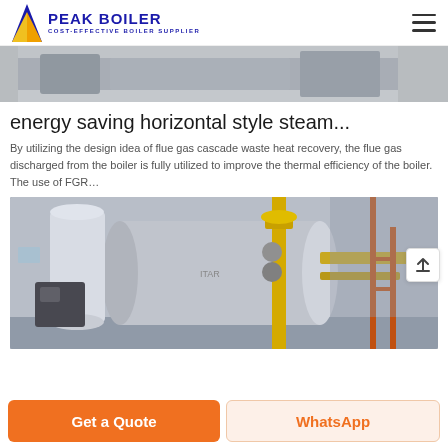PEAK BOILER — COST-EFFECTIVE BOILER SUPPLIER
[Figure (photo): Partial view of industrial boiler equipment in a factory setting]
energy saving horizontal style steam...
By utilizing the design idea of flue gas cascade waste heat recovery, the flue gas discharged from the boiler is fully utilized to improve the thermal efficiency of the boiler. The use of FGR...
[Figure (photo): Industrial steam boiler with yellow gas piping and large cylindrical vessel in a factory]
Get a Quote
WhatsApp